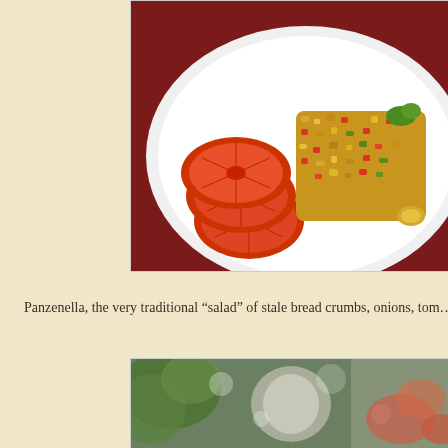[Figure (photo): A white plate with sliced tomatoes and a molded bread salad (panzanella) garnished with vegetables, served on a dark red tablecloth]
Panzenella, the very traditional “salad” of stale bread crumbs, onions, tom…
[Figure (photo): A blurred/bokeh photo showing what appears to be a salad or food dish with greenery, a glass, and colorful ingredients]